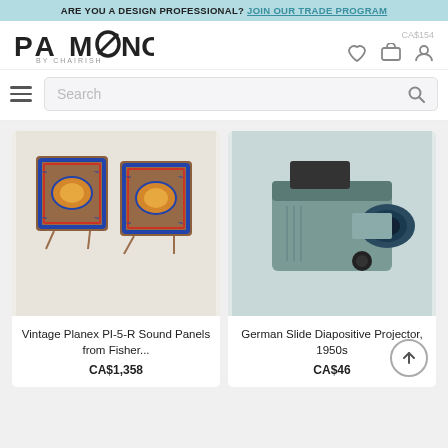ARE YOU A DESIGN PROFESSIONAL? JOIN OUR TRADE PROGRAM
[Figure (logo): PAMONO BY CHAIRISH logo]
[Figure (screenshot): Search bar with hamburger menu icon and magnifying glass]
[Figure (photo): Vintage Planex PI-5-R Sound Panels from Fisher - decorative painted wood panels]
Vintage Planex PI-5-R Sound Panels from Fisher...
CA$1,358
[Figure (photo): German Slide Diapositive Projector, 1950s - green vintage slide projector]
German Slide Diapositive Projector, 1950s
CA$46